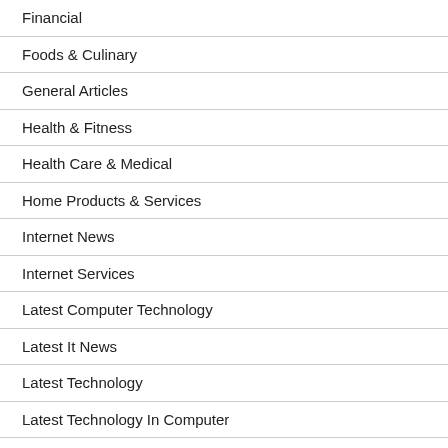Financial
Foods & Culinary
General Articles
Health & Fitness
Health Care & Medical
Home Products & Services
Internet News
Internet Services
Latest Computer Technology
Latest It News
Latest Technology
Latest Technology In Computer
Latest Technology Updates